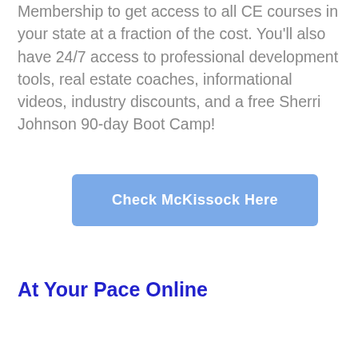Membership to get access to all CE courses in your state at a fraction of the cost. You'll also have 24/7 access to professional development tools, real estate coaches, informational videos, industry discounts, and a free Sherri Johnson 90-day Boot Camp!
Check McKissock Here
At Your Pace Online